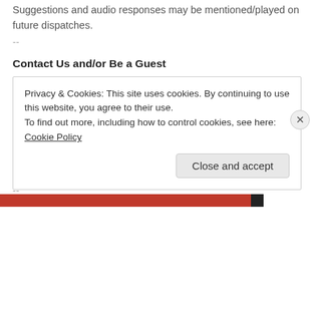Suggestions and audio responses may be mentioned/played on future dispatches.
--
Contact Us and/or Be a Guest
eMail + [4thworldradio AT gmx.pt]
SKYPE + [ID: aboriginalnewsgroup]
SIP + [sip:redaktoro@sip.antisip.com]
XMPP + [RadioAboriginal@jabberix.com]
APNSPR + [FWR/XML]
--
Privacy & Cookies: This site uses cookies. By continuing to use this website, you agree to their use. To find out more, including how to control cookies, see here: Cookie Policy